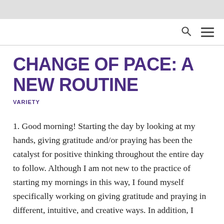CHANGE OF PACE: A NEW ROUTINE
VARIETY
1. Good morning! Starting the day by looking at my hands, giving gratitude and/or praying has been the catalyst for positive thinking throughout the entire day to follow. Although I am not new to the practice of starting my mornings in this way, I found myself specifically working on giving gratitude and praying in different, intuitive, and creative ways. In addition, I